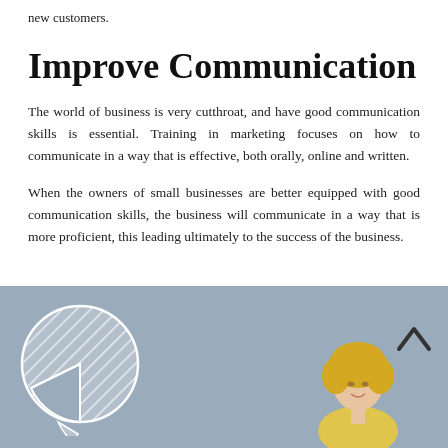new customers.
Improve Communication
The world of business is very cutthroat, and have good communication skills is essential. Training in marketing focuses on how to communicate in a way that is effective, both orally, online and written.
When the owners of small businesses are better equipped with good communication skills, the business will communicate in a way that is more proficient, this leading ultimately to the success of the business.
[Figure (photo): A grey-background image showing a decorative pie chart graphic on the left side and a blonde businesswoman on the right side, with an upward caret/chevron symbol in the top right area.]